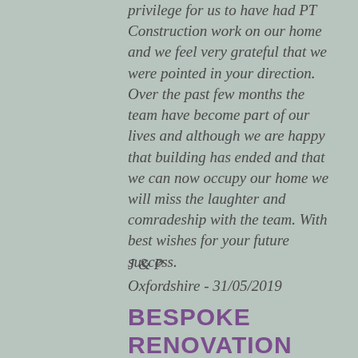privilege for us to have had PT Construction work on our home and we feel very grateful that we were pointed in your direction. Over the past few months the team have become part of our lives and although we are happy that building has ended and that we can now occupy our home we will miss the laughter and comradeship with the team. With best wishes for your future success.
J & P
Oxfordshire - 31/05/2019
BESPOKE RENOVATION WORKS
☆ ☆ ☆ ☆ ☆
22/05/2018
PT construction has worked with me on 2 projects over the last couple of a few years now. I have been